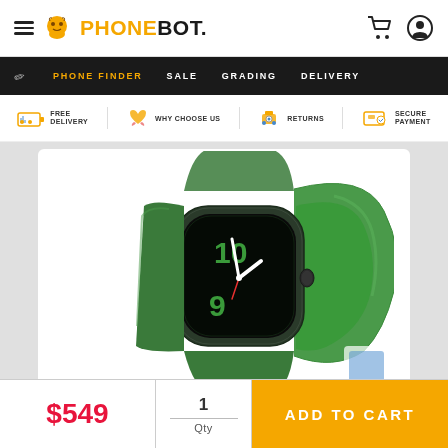PHONEBOT - Phone Finder, Sale, Grading, Delivery
[Figure (screenshot): Apple Watch Series 7 with green sport band, product photo on white background]
$549
1 Qty
ADD TO CART